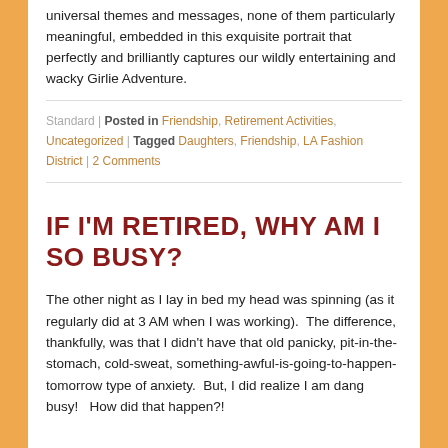universal themes and messages, none of them particularly meaningful, embedded in this exquisite portrait that perfectly and brilliantly captures our wildly entertaining and wacky Girlie Adventure.
Standard | Posted in Friendship, Retirement Activities, Uncategorized | Tagged Daughters, Friendship, LA Fashion District | 2 Comments
IF I'M RETIRED, WHY AM I SO BUSY?
The other night as I lay in bed my head was spinning (as it regularly did at 3 AM when I was working).  The difference, thankfully, was that I didn't have that old panicky, pit-in-the-stomach, cold-sweat, something-awful-is-going-to-happen-tomorrow type of anxiety.  But, I did realize I am dang busy!   How did that happen?!